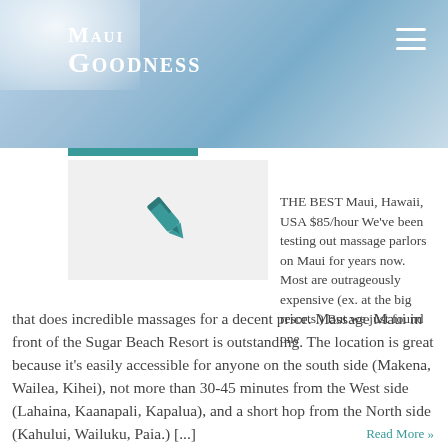Maui Goodness
[Figure (illustration): Pen/quill icon in teal color on a light gray card background]
THE BEST Maui, Hawaii, USA $85/hour We've been testing out massage parlors on Maui for years now. Most are outrageously expensive (ex. at the big resorts.) But we just found one that does incredible massages for a decent price. Massage Maui in front of the Sugar Beach Resort is outstanding. The location is great because it's easily accessible for anyone on the south side (Makena, Wailea, Kihei), not more than 30-45 minutes from the West side (Lahaina, Kaanapali, Kapalua), and a short hop from the North side (Kahului, Wailuku, Paia.) [...]
Read More »